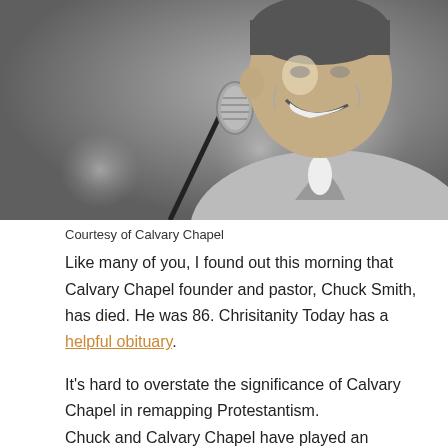[Figure (photo): Black and white photo of a smiling middle-aged man in a suit near a microphone, laughing upward]
Courtesy of Calvary Chapel
Like many of you, I found out this morning that Calvary Chapel founder and pastor, Chuck Smith, has died. He was 86. Chrisitanity Today has a helpful obituary.
It's hard to overstate the significance of Calvary Chapel in remapping Protestantism.
Chuck and Calvary Chapel have played an important role in the evangelical movement in the past century. Simply put, it is hard to overstate the significance of Calvary Chapel in remapping